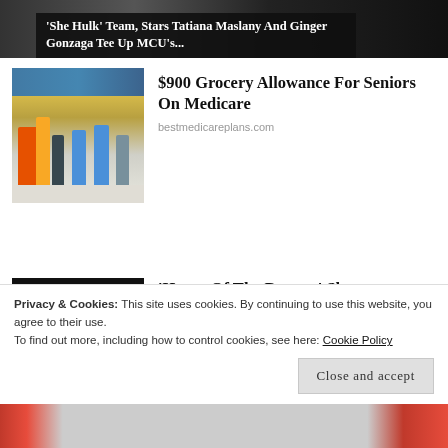[Figure (photo): Dark banner image at top of webpage showing a partial scene, with overlaid text about 'She Hulk' team]
'She Hulk' Team, Stars Tatiana Maslany And Ginger Gonzaga Tee Up MCU's...
[Figure (photo): Photo of shoppers in a grocery store aisle with shopping carts]
$900 Grocery Allowance For Seniors On Medicare
bestmedicareplans.com
[Figure (photo): Dark image showing House of the Dragon logo/sigil]
'House Of The Dragon' Showrunners – They Are The
Privacy & Cookies: This site uses cookies. By continuing to use this website, you agree to their use.
To find out more, including how to control cookies, see here: Cookie Policy
Close and accept